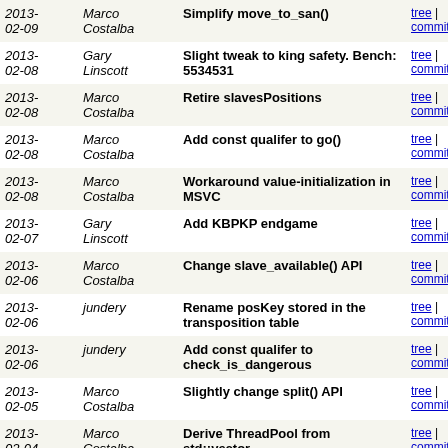| Date | Author | Message | Links |
| --- | --- | --- | --- |
| 2013-02-09 | Marco Costalba | Simplify move_to_san() | tree | commitdiff |
| 2013-02-08 | Gary Linscott | Slight tweak to king safety. Bench: 5534531 | tree | commitdiff |
| 2013-02-08 | Marco Costalba | Retire slavesPositions | tree | commitdiff |
| 2013-02-08 | Marco Costalba | Add const qualifer to go() | tree | commitdiff |
| 2013-02-08 | Marco Costalba | Workaround value-initialization in MSVC | tree | commitdiff |
| 2013-02-07 | Gary Linscott | Add KBPKP endgame | tree | commitdiff |
| 2013-02-06 | Marco Costalba | Change slave_available() API | tree | commitdiff |
| 2013-02-06 | jundery | Rename posKey stored in the transposition table | tree | commitdiff |
| 2013-02-06 | jundery | Add const qualifer to check_is_dangerous | tree | commitdiff |
| 2013-02-05 | Marco Costalba | Slightly change split() API | tree | commitdiff |
| 2013-02-04 | Marco Costalba | Derive ThreadPool from std::vector | tree | commitdiff |
| 2013-02-04 | Marco Costalba | Move split() under Thread | tree | commitdiff |
| 2013-02-04 | Marco Costalba | Some renaming in split() | tree | commitdiff |
| 2013- | Marco Costalba | Be clear about not LMR the ttMove | tree | commitdiff |